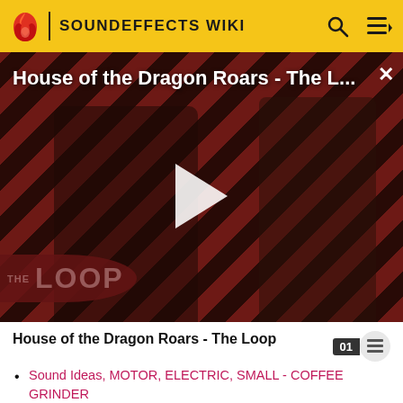SOUNDEFFECTS WIKI
[Figure (screenshot): Video thumbnail for 'House of the Dragon Roars - The L...' showing two characters from House of the Dragon against a red diagonal stripe background with a play button overlay and 'THE LOOP' logo]
House of the Dragon Roars - The Loop
Sound Ideas, MOTOR, ELECTRIC, SMALL - COFFEE GRINDER
Sound Ideas, MUD, SPLASH - GIANT GLOP & BUBBLE BLAST